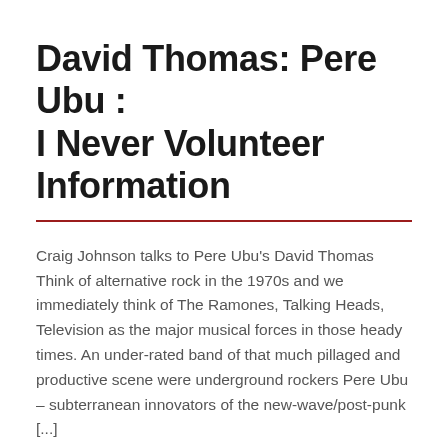David Thomas: Pere Ubu : I Never Volunteer Information
Craig Johnson talks to Pere Ubu's David Thomas Think of alternative rock in the 1970s and we immediately think of The Ramones, Talking Heads, Television as the major musical forces in those heady times. An under-rated band of that much pillaged and productive scene were underground rockers Pere Ubu – subterranean innovators of the new-wave/post-punk [...]